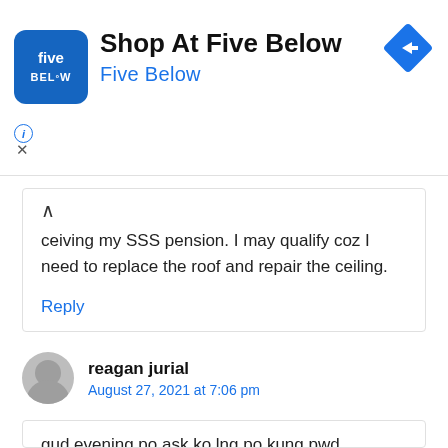[Figure (other): Five Below advertisement banner with blue logo, 'Shop At Five Below' title text, 'Five Below' subtitle in blue, and a blue diamond-shaped arrow icon on the right. Info icon and X close button at bottom left.]
ceiving my SSS pension. I may qualify coz I need to replace the roof and repair the ceiling.
Reply
reagan jurial
August 27, 2021 at 7:06 pm
gud evening po ask ko lng po kung pwd